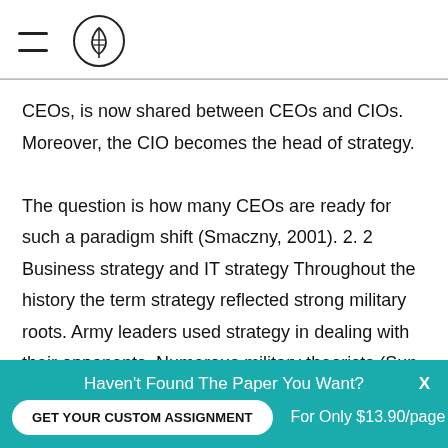[hamburger menu icon] [logo icon]
CEOs, is now shared between CEOs and CIOs. Moreover, the CIO becomes the head of strategy.

The question is how many CEOs are ready for such a paradigm shift (Smaczny, 2001). 2. 2 Business strategy and IT strategy Throughout the history the term strategy reflected strong military roots. Army leaders used strategy in dealing with their opponents. Numerous military theorists (Sun Tzu, Alexander, Clausewitz, Napoleon, Stonewall Jackson, Douglas MacArthur, etc. ) have
Haven't Found The Paper You Want? GET YOUR CUSTOM ASSIGNMENT For Only $13.90/page X